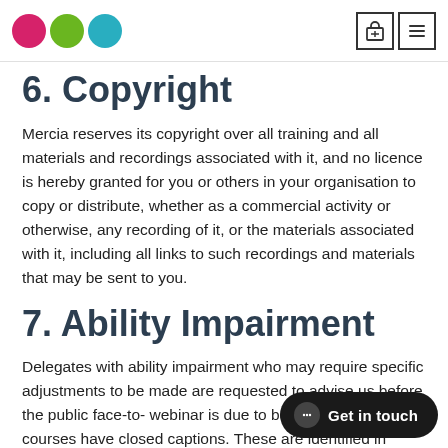Mercia logo and navigation icons
6. Copyright
Mercia reserves its copyright over all training and all materials and recordings associated with it, and no licence is hereby granted for you or others in your organisation to copy or distribute, whether as a commercial activity or otherwise, any recording of it, or the materials associated with it, including all links to such recordings and materials that may be sent to you.
7. Ability Impairment
Delegates with ability impairment who may require specific adjustments to be made are requested to advise us before the public face-to- webinar is due to be held. A select courses have closed captions. These are identified in